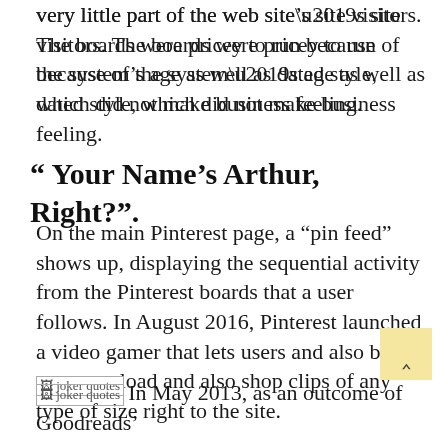very little part of the web site’s site visitors. The boards were pricey to run because of the system’s age as well as dated style, which did not make business feeling.
“ Your Name’s Arthur, Right?”.
On the main Pinterest page, a “pin feed” shows up, displaying the sequential activity from the Pinterest boards that a user follows. In August 2016, Pinterest launched a video gamer that lets users and also brand names upload and also shop clips of any type of size right to the site.
[Figure (photo): Small broken image placeholder labeled 'joker quotes']
In May 2013, as an outcome of Goodreads’